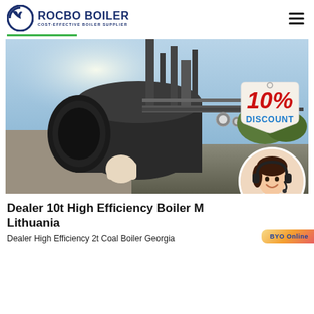ROCBO BOILER — COST-EFFECTIVE BOILER SUPPLIER
[Figure (photo): Industrial boiler equipment outdoors with a 10% Discount promotional badge overlaid on the right side, and a circular customer service representative portrait in the bottom right corner]
Dealer 10t High Efficiency Boiler Machine Lithuania
Dealer High Efficiency 2t Coal Boiler Georgia